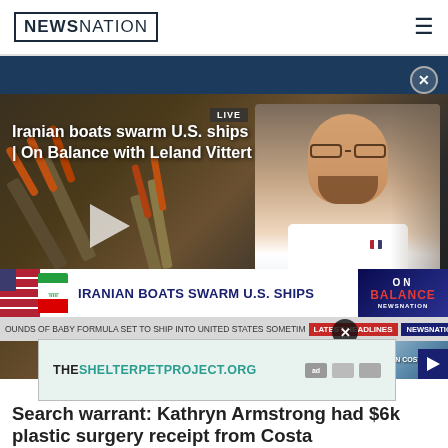NewsNation
[Figure (screenshot): NewsNation video thumbnail showing Iranian boats swarm U.S. ships segment with On Balance with Leland Vittert. Shows missile launchers on left, TV anchor on right, breaking news chyron reading IRANIAN BOATS SWARM U.S. SHIPS, ticker with LATEST HEADLINES, and second video card showing RECEIPT IN COSTA RICA]
Iranian boats swarm U.S. ships | On Balance with Leland Vittert
[Figure (infographic): Advertisement banner for THESHELTERPETPROJECT.ORG]
Search warrant: Kathryn Armstrong had $6k plastic surgery receipt from Costa